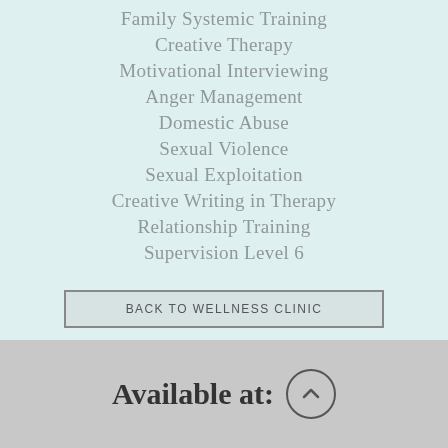Family Systemic Training
Creative Therapy
Motivational Interviewing
Anger Management
Domestic Abuse
Sexual Violence
Sexual Exploitation
Creative Writing in Therapy
Relationship Training
Supervision Level 6
BACK TO WELLNESS CLINIC
BOOK NOW
Available at: